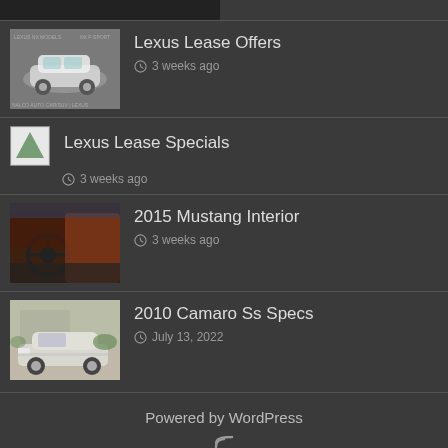[Figure (screenshot): Dark top bar partial image at the top]
Lexus Lease Offers
3 weeks ago
Lexus Lease Specials
3 weeks ago
2015 Mustang Interior
3 weeks ago
2010 Camaro Ss Specs
July 13, 2022
Powered by WordPress
© Copyright 2022, All Rights Reserved